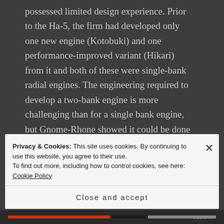possessed limited design experience. Prior to the Ha-5, the firm had developed only one new engine (Kotobuki) and one performance-improved variant (Hikari) from it and both of these were single-bank radial engines. The engineering required to develop a two-bank engine is more challenging than for a single bank engine, but Gnome-Rhone showed it could be done with the knowledge and technology available at the time.
Privacy & Cookies: This site uses cookies. By continuing to use this website, you agree to their use.
To find out more, including how to control cookies, see here: Cookie Policy
Close and accept